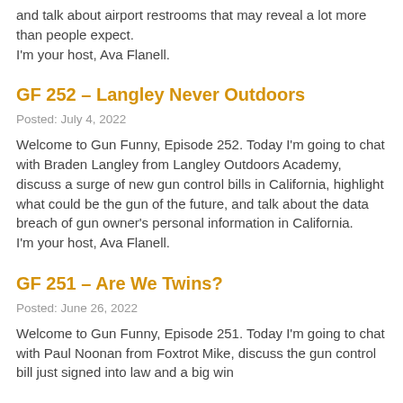and talk about airport restrooms that may reveal a lot more than people expect.
I'm your host, Ava Flanell.
GF 252 – Langley Never Outdoors
Posted: July 4, 2022
Welcome to Gun Funny, Episode 252. Today I'm going to chat with Braden Langley from Langley Outdoors Academy, discuss a surge of new gun control bills in California, highlight what could be the gun of the future, and talk about the data breach of gun owner's personal information in California.
I'm your host, Ava Flanell.
GF 251 – Are We Twins?
Posted: June 26, 2022
Welcome to Gun Funny, Episode 251. Today I'm going to chat with Paul Noonan from Foxtrot Mike, discuss the gun control bill just signed into law and a big win